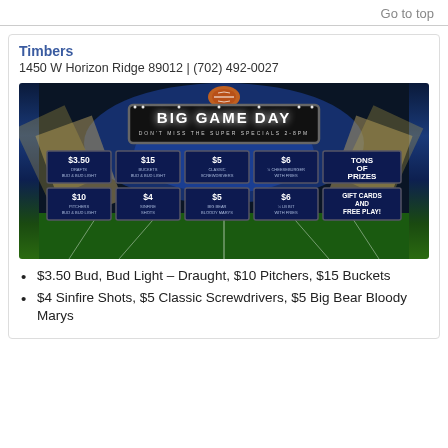Go to top
Timbers
1450 W Horizon Ridge 89012 | (702) 492-0027
[Figure (photo): Big Game Day promotional banner for Timbers bar showing football stadium background with specials: $3.50 Drafts Bud & Bud Light, $15 Buckets Bud & Bud Light, $5 Classic Screwdrivers, $6 ¾lb Cheeseburger with Fries, Tons of Prizes, $10 Pitchers Bud & Bud Light, $4 Sinfire Shots, $5 Big Bear Bloody Marys, $6 ¼lb Bit with Fries, Gift Cards and Free Play]
$3.50 Bud, Bud Light – Draught, $10 Pitchers, $15 Buckets
$4 Sinfire Shots, $5 Classic Screwdrivers, $5 Big Bear Bloody Marys